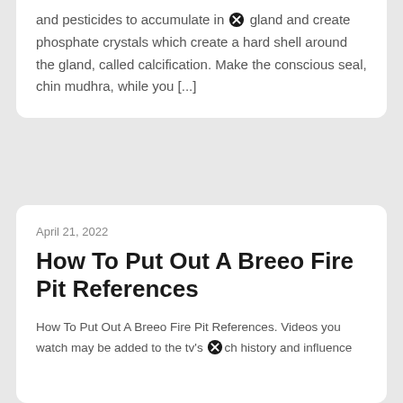and pesticides to accumulate in ⊗ gland and create phosphate crystals which create a hard shell around the gland, called calcification. Make the conscious seal, chin mudhra, while you [...]
April 21, 2022
How To Put Out A Breeo Fire Pit References
How To Put Out A Breeo Fire Pit References. Videos you watch may be added to the tv's ⊗ch history and influence